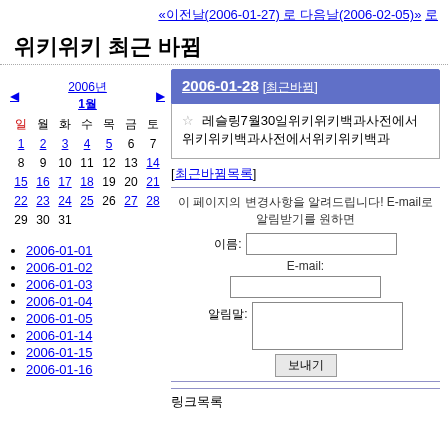«이전날(2006-01-27) 로 다음날(2006-02-05)» 로
위키위키 최근 바뀜
[Figure (other): Calendar widget for 2006년 1월 with linked dates]
2006-01-01
2006-01-02
2006-01-03
2006-01-04
2006-01-05
2006-01-14
2006-01-15
2006-01-16
2006-01-28 [최근바뀜]
☆ 레슬링7월30일 위키위키백과사전에서
[최근바뀜목록]
이 페이지의 변경사항을 알려드립니다! E-mail로 알림받기를 원하면
이름:
E-mail:
알림말:
보내기
링크목록